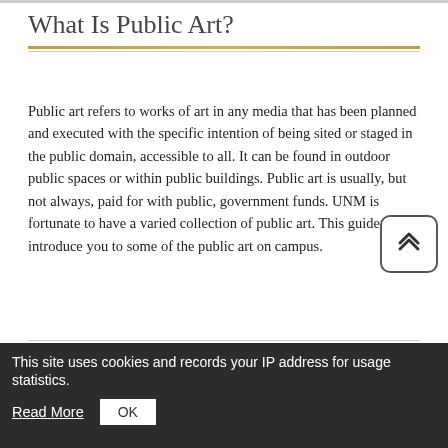What Is Public Art?
Public art refers to works of art in any media that has been planned and executed with the specific intention of being sited or staged in the public domain, accessible to all. It can be found in outdoor public spaces or within public buildings. Public art is usually, but not always, paid for with public, government funds. UNM is fortunate to have a varied collection of public art. This guide will introduce you to some of the public art on campus.
Last Updated: Oct 19, 2021 11:38 AM | URL: https://libguides.unm.edu/publicart | Print Page
This site uses cookies and records your IP address for usage statistics. Read More OK